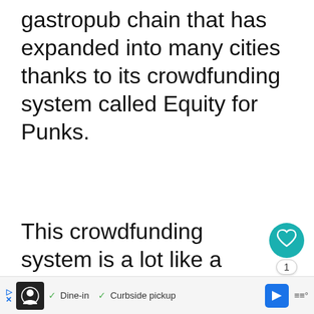gastropub chain that has expanded into many cities thanks to its crowdfunding system called Equity for Punks.
This crowdfunding system is a lot like a Kickstarter in that there are numerous perks for investors, such as free
[Figure (screenshot): UI panel with heart/like button (teal circle), share count badge showing 1, and share button]
[Figure (screenshot): What's Next panel with circular image and text 'An Attraction and Dining...']
[Figure (screenshot): Bottom advertisement bar with Dine-in and Curbside pickup checkmarks, navigation buttons]